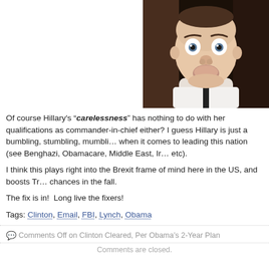[Figure (photo): A man with wide surprised eyes and puffed cheeks making a shocked expression, wearing a white shirt, against a dark background. Appears to be a GIF still.]
Of course Hillary’s “carelessness” has nothing to do with her qualifications as commander-in-chief either? I guess Hillary is just a bumbling, stumbling, mumbling when it comes to leading this nation (see Benghazi, Obamacare, Middle East, Ir etc).
I think this plays right into the Brexit frame of mind here in the US, and boosts Tr chances in the fall.
The fix is in!  Long live the fixers!
Tags: Clinton, Email, FBI, Lynch, Obama
Comments Off on Clinton Cleared, Per Obama’s 2-Year Plan
Comments are closed.